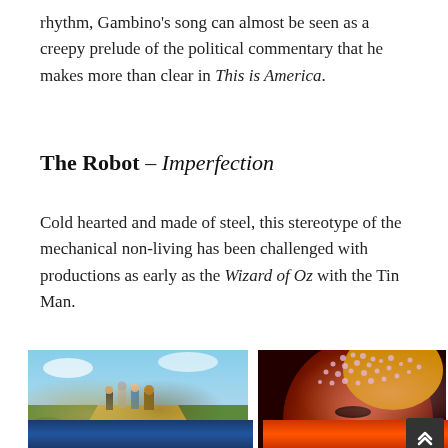rhythm, Gambino's song can almost be seen as a creepy prelude of the political commentary that he makes more than clear in This is America.
The Robot – Imperfection
Cold hearted and made of steel, this stereotype of the mechanical non-living has been challenged with productions as early as the Wizard of Oz with the Tin Man.
[Figure (photo): Movie still from The Wizard of Oz showing characters walking on the yellow brick road including the Tin Man, Dorothy, Scarecrow, and Cowardly Lion]
[Figure (photo): Close-up portrait of a person with elaborate jeweled/beaded headpiece in red tones]